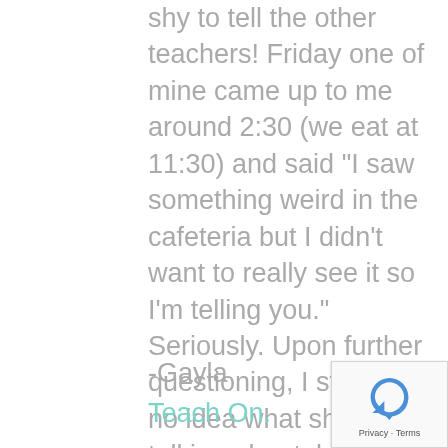shy to tell the other teachers! Friday one of mine came up to me around 2:30 (we eat at 11:30) and said "I saw something weird in the cafeteria but I didn't want to really see it so I'm telling you." Seriously. Upon further questioning, I still had no idea what she was talking about, but we discussed that next time she should TELL THE TEACHER ON DUTY. Lord help us. 🙂
-Gayla
Teach On.